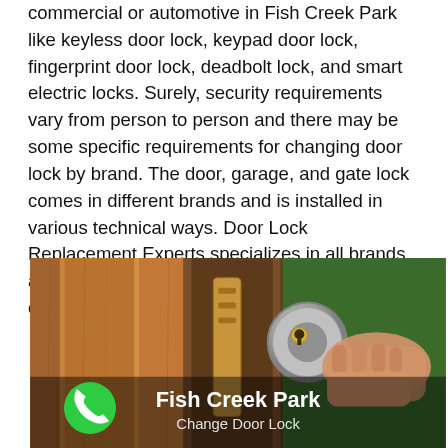commercial or automotive in Fish Creek Park like keyless door lock, keypad door lock, fingerprint door lock, deadbolt lock, and smart electric locks. Surely, security requirements vary from person to person and there may be some specific requirements for changing door lock by brand. The door, garage, and gate lock comes in different brands and is installed in various technical ways. Door Lock Replacement Experts specializes in all brands and models of locks to change and install for client's requirements across Fish Creek Park.
[Figure (photo): Photo of a hand installing or replacing a door lock mechanism on a wooden door, with overlay text 'Fish Creek Park' and 'Change Door Lock'. A green phone call button is visible in the bottom-left corner.]